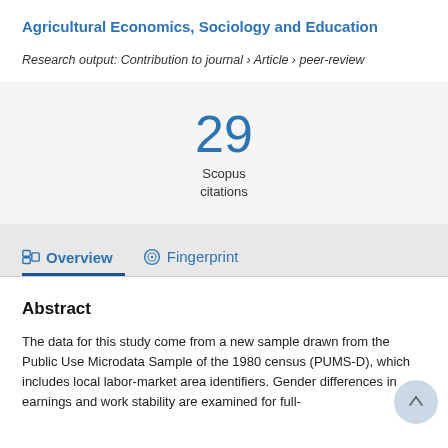Agricultural Economics, Sociology and Education
Research output: Contribution to journal › Article › peer-review
29
Scopus
citations
Overview   Fingerprint
Abstract
The data for this study come from a new sample drawn from the Public Use Microdata Sample of the 1980 census (PUMS-D), which includes local labor-market area identifiers. Gender differences in earnings and work stability are examined for full-